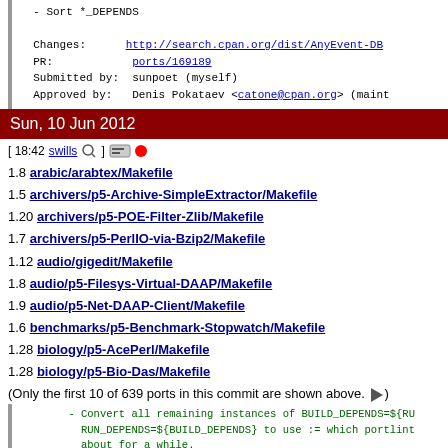- Sort *_DEPENDS

Changes: http://search.cpan.org/dist/AnyEvent-DB...
PR: ports/169189
Submitted by: sunpoet (myself)
Approved by: Denis Pokataev <catone@cpan.org> (maint...
Sun, 10 Jun 2012
[ 18:42 swills 🔍 ] [icon] ●
1.8 arabic/arabtex/Makefile
1.5 archivers/p5-Archive-SimpleExtractor/Makefile
1.20 archivers/p5-POE-Filter-Zlib/Makefile
1.7 archivers/p5-PerlIO-via-Bzip2/Makefile
1.12 audio/gigedit/Makefile
1.8 audio/p5-Filesys-Virtual-DAAP/Makefile
1.9 audio/p5-Net-DAAP-Client/Makefile
1.6 benchmarks/p5-Benchmark-Stopwatch/Makefile
1.28 biology/p5-AcePerl/Makefile
1.28 biology/p5-Bio-Das/Makefile
(Only the first 10 of 639 ports in this commit are shown above. ▶)
- Convert all remaining instances of BUILD_DEPENDS=${RU...
RUN_DEPENDS=${BUILD_DEPENDS} to use := which portlint...
about for a while.